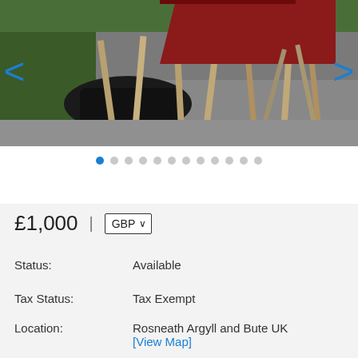[Figure (photo): Outdoor scene showing a boat or vessel on wooden trestles/supports in a gravel yard. Various wooden beams, a black plastic tarp, and a dark red/maroon structure are visible. Navigation arrows (left/right) overlay the image for a slideshow interface.]
● ○ ○ ○ ○ ○ ○ ○ ○ ○ ○ ○
£1,000  |  GBP ▼
Status:          Available
Tax Status:     Tax Exempt
Location:        Rosneath Argyll and Bute UK [View Map]